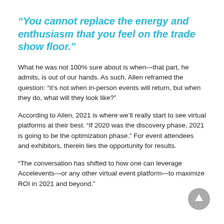“You cannot replace the energy and enthusiasm that you feel on the trade show floor.”
What he was not 100% sure about is when—that part, he admits, is out of our hands. As such, Allen reframed the question: “it’s not when in-person events will return, but when they do, what will they look like?”
According to Allen, 2021 is where we’ll really start to see virtual platforms at their best. “If 2020 was the discovery phase, 2021 is going to be the optimization phase.” For event attendees and exhibitors, therein lies the opportunity for results.
“The conversation has shifted to how one can leverage Accelevents—or any other virtual event platform—to maximize ROI in 2021 and beyond.”
[Figure (other): Gray circular scroll-to-top button with upward arrow icon]